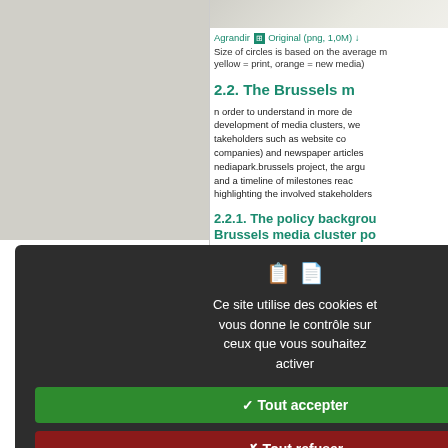[Figure (screenshot): Partial image in left column background]
[Figure (screenshot): Image strip at top of right column]
Agrandir [icon] Original (png, 1,0M) [download icon]
Size of circles is based on the average m... yellow = print, orange = new media)
2.2. The Brussels m
n order to understand in more de development of media clusters, we takeholders such as website co companies) and newspaper articles nediapark.brussels project, the argu and a timeline of milestones reac highlighting the involved stakeholders
2.2.1. The policy backgrou Brussels media cluster po
The development of the media indus nderstood in the context of the politi f the metropolitan area of Brussels ifferent policies that regulate and competences are separated betwee
Ce site utilise des cookies et vous donne le contrôle sur ceux que vous souhaitez activer
✓  Tout accepter
✗  Tout refuser
Personnaliser
Politique de confidentialité